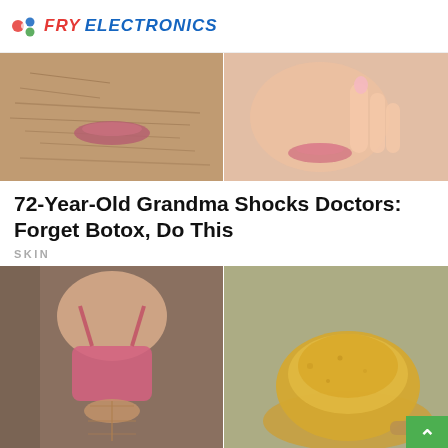FRY ELECTRONICS
[Figure (photo): Split image: left side shows an elderly woman's wrinkled face around the mouth area, right side shows a young woman's smooth face touching her cheek with manicured hand.]
72-Year-Old Grandma Shocks Doctors: Forget Botox, Do This
SKIN
[Figure (photo): Split image: left side shows a fit athletic woman in a pink sports bra with visible abs, right side shows a pile of golden-brown powder (possibly turmeric or similar spice) on a wooden spoon.]
Facebook share | Twitter share